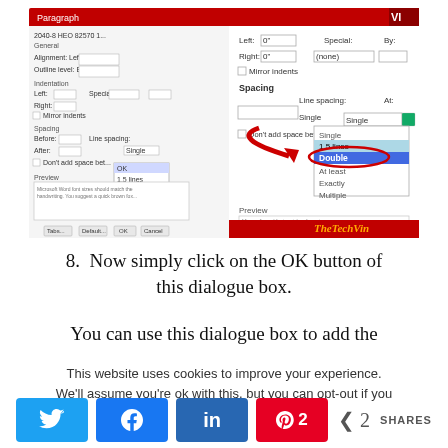[Figure (screenshot): Screenshot of Microsoft Word Paragraph dialog box showing line spacing options with a red arrow pointing to 'Double' option highlighted in blue dropdown menu. TheTechVin watermark at bottom right.]
8.  Now simply click on the OK button of this dialogue box.
You can use this dialogue box to add the
This website uses cookies to improve your experience. We'll assume you're ok with this, but you can opt-out if you
Twitter share | Facebook share | LinkedIn share | Pinterest 2 shares | Share 2 SHARES